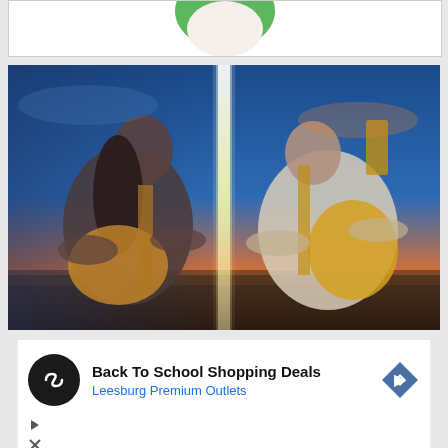[Figure (illustration): Partial white box at top showing bottom edge of a green circular logo/shape on white background]
[Figure (photo): Two guitarists sitting facing each other with a bright light beam between them against a dramatic sky background. Left person is a woman in grey t-shirt playing acoustic guitar, right person is a man in white t-shirt playing electric guitar.]
[Figure (infographic): Advertisement banner: Back To School Shopping Deals - Leesburg Premium Outlets. Features a black circular icon with infinity-like logo, navigation arrow diamond icon, and ad control icons.]